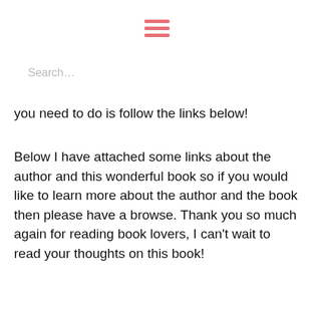[Figure (other): Hamburger menu icon with three horizontal pink/salmon colored bars]
Search...
you need to do is follow the links below!
Below I have attached some links about the author and this wonderful book so if you would like to learn more about the author and the book then please have a browse. Thank you so much again for reading book lovers, I can't wait to read your thoughts on this book!